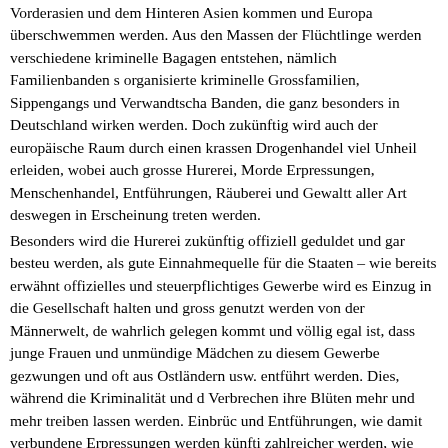Vorderasien und dem Hinteren Asien kommen und Europa überschwemmen werden. Aus den Massen der Flüchtlinge werden verschiedene kriminelle Bagagen entstehen, nämlich Familienbanden s organisierte kriminelle Grossfamilien, Sippengangs und Verwandtschaft Banden, die ganz besonders in Deutschland wirken werden. Doch zukünftig wird auch der europäische Raum durch einen krassen Drogenhandel viel Unheil erleiden, wobei auch grosse Hurerei, Morde, Erpressungen, Menschenhandel, Entführungen, Räuberei und Gewalttaten aller Art deswegen in Erscheinung treten werden.
Besonders wird die Hurerei zukünftig offiziell geduldet und gar besteuert werden, als gute Einnahmequelle für die Staaten – wie bereits erwähnt, offizielles und steuerpflichtiges Gewerbe wird es Einzug in die Gesellschaft halten und gross genutzt werden von der Männerwelt, dem wahrlich gelegen kommt und völlig egal ist, dass junge Frauen und unmündige Mädchen zu diesem Gewerbe gezwungen und oft aus Ostländern usw. entführt werden. Dies, während die Kriminalität und die Verbrechen ihre Blüten mehr und mehr treiben lassen werden. Einbrüche und Entführungen, wie damit verbundene Erpressungen werden künftig zahlreicher werden, wie auch Schutzgelderpressungen usw. nach dem Mafiasystem, das sich über ganz Europa ausbreiten wird. Und es werd